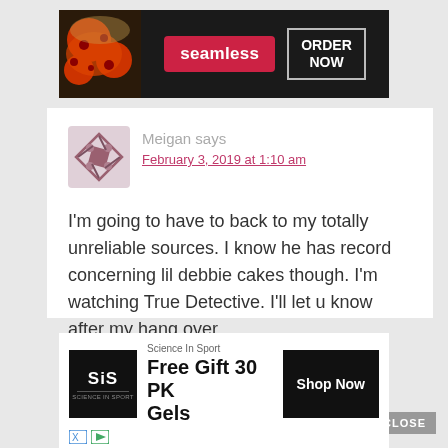[Figure (screenshot): Seamless food delivery advertisement banner with pizza image, seamless logo and ORDER NOW button]
[Figure (illustration): User avatar icon - abstract geometric design with arrows/shapes in gray and maroon]
Meigan says
February 3, 2019 at 1:10 am
I'm going to have to back to my totally unreliable sources. I know he has record concerning lil debbie cakes though. I'm watching True Detective. I'll let u know after my hang over.
Reply
CLOSE
[Figure (screenshot): Science In Sport advertisement - Free Gift 30 PK Gels with Shop Now button and SiS logo]